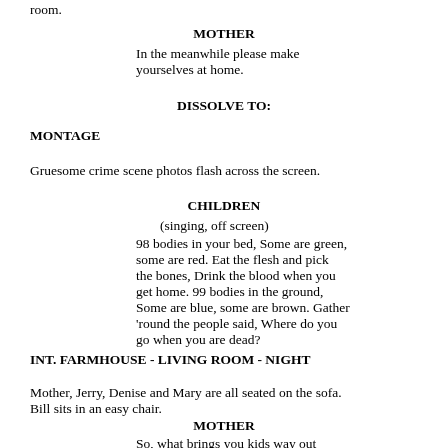room.
MOTHER
In the meanwhile please make yourselves at home.
DISSOLVE TO:
MONTAGE
Gruesome crime scene photos flash across the screen.
CHILDREN
(singing, off screen)
98 bodies in your bed, Some are green, some are red. Eat the flesh and pick the bones, Drink the blood when you get home. 99 bodies in the ground, Some are blue, some are brown. Gather 'round the people said, Where do you go when you are dead?
INT. FARMHOUSE - LIVING ROOM - NIGHT
Mother, Jerry, Denise and Mary are all seated on the sofa. Bill sits in an easy chair.
MOTHER
So, what brings you kids way out here, ain't you got something better to do for Halloween than wander around